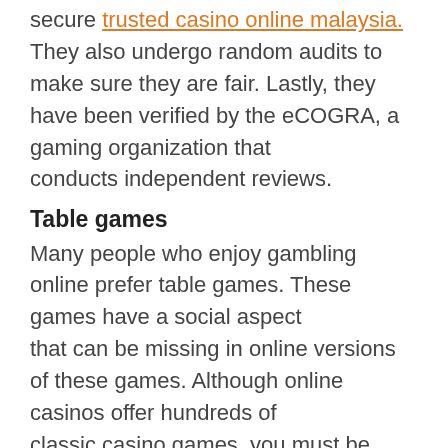secure trusted casino online malaysia. They also undergo random audits to make sure they are fair. Lastly, they have been verified by the eCOGRA, a gaming organization that conducts independent reviews.
Table games
Many people who enjoy gambling online prefer table games. These games have a social aspect that can be missing in online versions of these games. Although online casinos offer hundreds of classic casino games, you must be careful to make sure that your money is safe. There are several ways you can do this. For starters, you can look for online casinos that allow you to gamble for real money. You can also choose games that you have seen in a real casino,